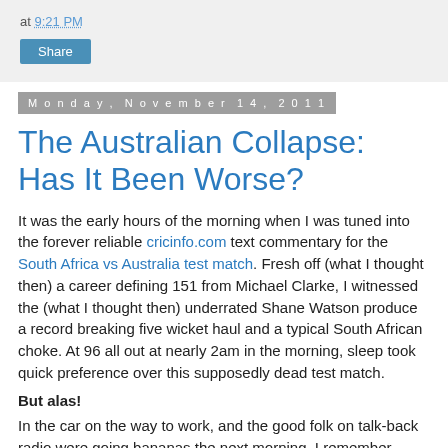at 9:21 PM
Share
Monday, November 14, 2011
The Australian Collapse: Has It Been Worse?
It was the early hours of the morning when I was tuned into the forever reliable cricinfo.com text commentary for the South Africa vs Australia test match. Fresh off (what I thought then) a career defining 151 from Michael Clarke, I witnessed the (what I thought then) underrated Shane Watson produce a record breaking five wicket haul and a typical South African choke. At 96 all out at nearly 2am in the morning, sleep took quick preference over this supposedly dead test match.
But alas!
In the car on the way to work, and the good folk on talk-back radio were going bananas the next morning. I remember distinctly thinking that 96 all out is a bad effort, but nothing to be flipping upside-down about, what's all